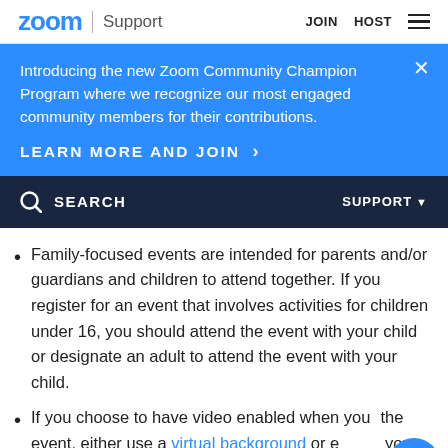zoom | Support   JOIN  HOST
Introducing the new Zoom Community Champion Program where we recognize our most engaged community members for their contributions.
LEARN MORE AND JOIN >
SEARCH   SUPPORT
Family-focused events are intended for parents and/or guardians and children to attend together. If you register for an event that involves activities for children under 16, you should attend the event with your child or designate an adult to attend the event with your child.
If you choose to have video enabled when you join the event, either use a virtual background or ensure your surroundings are free of any images that are